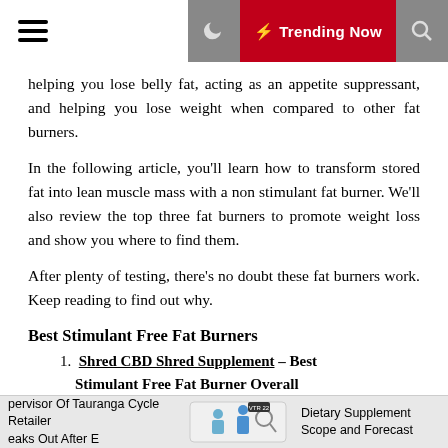☰  🌙  ⚡ Trending Now  🔍
helping you lose belly fat, acting as an appetite suppressant, and helping you lose weight when compared to other fat burners.
In the following article, you'll learn how to transform stored fat into lean muscle mass with a non stimulant fat burner. We'll also review the top three fat burners to promote weight loss and show you where to find them.
After plenty of testing, there's no doubt these fat burners work. Keep reading to find out why.
Best Stimulant Free Fat Burners
1. Shred CBD Shred Supplement – Best Stimulant Free Fat Burner Overall
2. LeanBean – Best Low Stim Fat Burner for Women
3. Burn Lab Pro – Best Fat Burners for Body
pervisor Of Tauranga Cycle Retailer eaks Out After E   [image]   Dietary Supplement Scope and Forecast